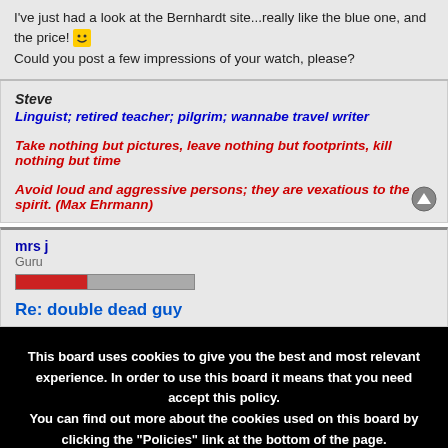I've just had a look at the Bernhardt site...really like the blue one, and the price! 😊
Could you post a few impressions of your watch, please?
Steve
Linguist; retired teacher; pilgrim; wannabe travel writer
Take nothing but pictures, leave nothing but footprints, kill nothing but time
Avoid loud and aggressive persons; they are vexatious to the spirit. (Max Ehrmann)
mrs j
Guru
Re: double dead guy
This board uses cookies to give you the best and most relevant experience. In order to use this board it means that you need accept this policy.
You can find out more about the cookies used on this board by clicking the "Policies" link at the bottom of the page.
✓ Accept Cookies